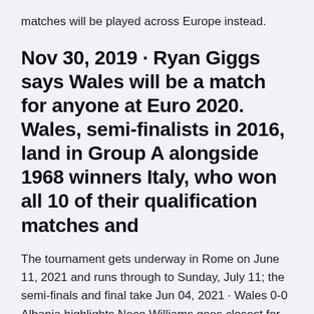matches will be played across Europe instead.
Nov 30, 2019 · Ryan Giggs says Wales will be a match for anyone at Euro 2020. Wales, semi-finalists in 2016, land in Group A alongside 1968 winners Italy, who won all 10 of their qualification matches and
The tournament gets underway in Rome on June 11, 2021 and runs through to Sunday, July 11; the semi-finals and final take Jun 04, 2021 · Wales 0-0 Albania highlights Neco Williams goes closest for Wales as hosts are held to 0-0 draw in final Euro 2020 warm-up game by Albania. Watch for match highlights.